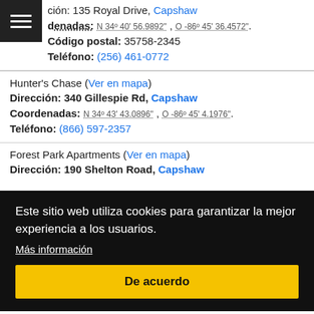ción: 135 Royal Drive, Capshaw
denadas: N 34° 40' 56.9892" , O -86° 45' 36.4572".
Código postal: 35758-2345
Teléfono: (256) 461-0772
Hunter's Chase (Ver en mapa)
Dirección: 340 Gillespie Rd, Capshaw
Coordenadas: N 34° 43' 43.0896" , O -86° 45' 4.1976".
Teléfono: (866) 597-2357
Forest Park Apartments (Ver en mapa)
Dirección: 190 Shelton Road, Capshaw
Este sitio web utiliza cookies para garantizar la mejor experiencia a los usuarios. Más información De acuerdo
Teléfono: (256) 461-9965